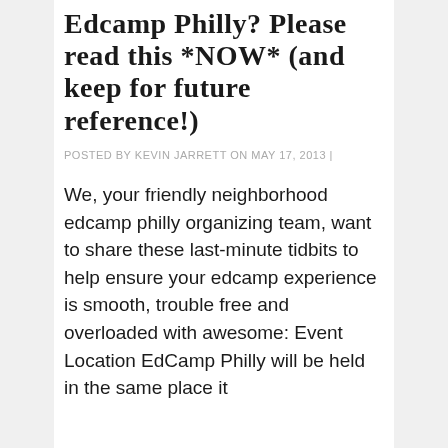Edcamp Philly? Please read this *NOW* (and keep for future reference!)
POSTED BY KEVIN JARRETT ON MAY 17, 2013 |
We, your friendly neighborhood edcamp philly organizing team, want to share these last-minute tidbits to help ensure your edcamp experience is smooth, trouble free and overloaded with awesome: Event Location EdCamp Philly will be held in the same place it